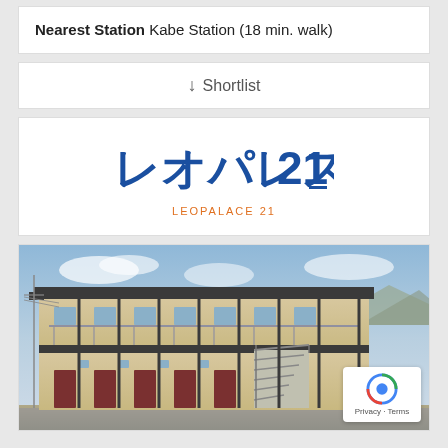Nearest Station Kabe Station (18 min. walk)
↓ Shortlist
[Figure (logo): Leo Palace 21 logo in Japanese characters レオパレス21 in blue, with LEOPALACE 21 subtitle in orange below]
[Figure (photo): Exterior photo of a two-story Japanese apartment building (Leo Palace 21) with beige walls, dark trim, metal staircases, and balconies with railings. Mountains visible in background.]